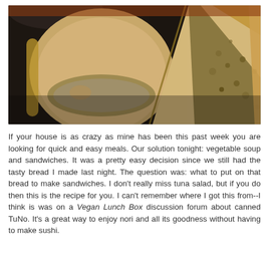[Figure (photo): Close-up photograph of a sandwich made with thick white bread, cut in half and showing a chunky filling resembling tuna salad, placed on a dark surface with a bowl visible in the background.]
If your house is as crazy as mine has been this past week you are looking for quick and easy meals. Our solution tonight: vegetable soup and sandwiches. It was a pretty easy decision since we still had the tasty bread I made last night. The question was: what to put on that bread to make sandwiches. I don't really miss tuna salad, but if you do then this is the recipe for you. I can't remember where I got this from--I think is was on a Vegan Lunch Box discussion forum about canned TuNo. It's a great way to enjoy nori and all its goodness without having to make sushi.